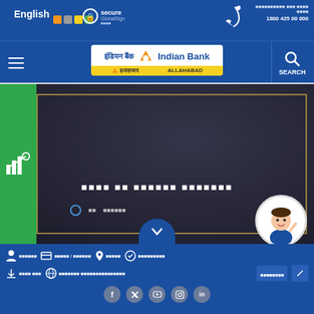English | [color swatches] | Secure GlobalSign | [phone icon] | [Hindi text] | 1800 425 00 000
[Figure (screenshot): Indian Bank website navigation bar with hamburger menu, bank logo (Indian Bank / Allahabad Bank), and search icon]
[Figure (screenshot): Hero banner with green sidebar containing investment icon, dark background with gold border, Hindi text headline, navigation dots, chevron down button, and mascot cartoon girl]
[Figure (screenshot): Footer navigation row with icons for customer service, loans/accounts, locator, schemes, downloads, and internet banking. Social media icons: Facebook, Twitter, YouTube, Instagram, LinkedIn]